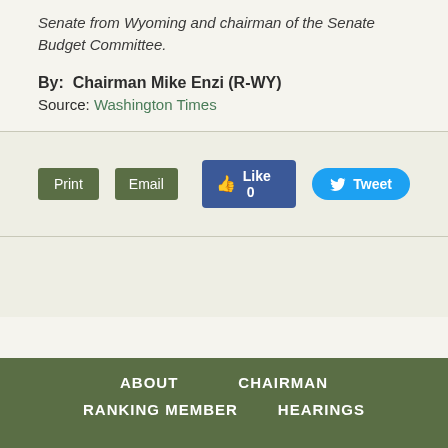Senate from Wyoming and chairman of the Senate Budget Committee.
By:  Chairman Mike Enzi (R-WY)
Source: Washington Times
[Figure (screenshot): Social sharing buttons: Print, Email, Facebook Like (0), Tweet]
ABOUT   CHAIRMAN   RANKING MEMBER   HEARINGS